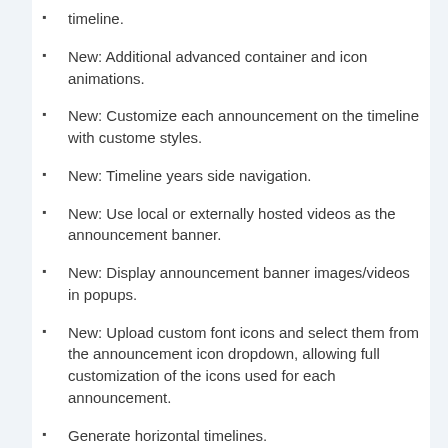timeline.
New: Additional advanced container and icon animations.
New: Customize each announcement on the timeline with custome styles.
New: Timeline years side navigation.
New: Use local or externally hosted videos as the announcement banner.
New: Display announcement banner images/videos in popups.
New: Upload custom font icons and select them from the announcement icon dropdown, allowing full customization of the icons used for each announcement.
Generate horizontal timelines.
Full WPML Support
Setup multiple Timelines and assign